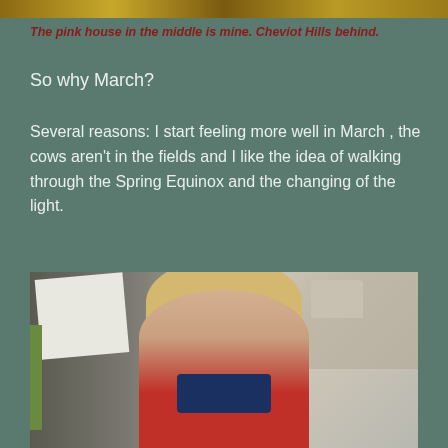[Figure (photo): Top strip showing village scene with Cheviot Hills in the background, golden autumn colors]
The pink house in the middle is mine. Cheviot Hills behind.
So why March?
Several reasons: I start feeling more well in March , the cows aren't in the fields and I like the idea of walking through the Spring Equinox and the changing of the light.
[Figure (photo): A blonde woman in a red jacket taking a selfie in a mirror, in a room with artwork and shelves visible, lamp visible in background]